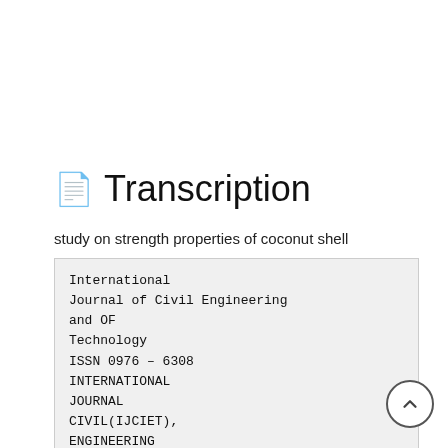Transcription
study on strength properties of coconut shell
International
Journal of Civil Engineering
and OF
Technology
ISSN 0976 – 6308
INTERNATIONAL
JOURNAL
CIVIL(IJCIET),
ENGINEERING
AND(Print),
ISSN 0976 – 6316(Online), Volume 6, Issue 3, March (2015), pp. 42-61 © IAEME
TECHNOLOGY (IJCIET)
ISSN 0976 – 6308 (Print)